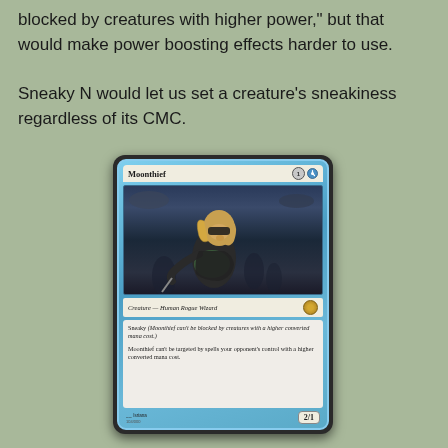blocked by creatures with higher power," but that would make power boosting effects harder to use.

Sneaky N would let us set a creature's sneakiness regardless of its CMC.
[Figure (illustration): A Magic: The Gathering card named 'Moonthief'. Blue-framed card showing a blonde woman in dark clothing and a mask leaning forward stealthily against a dark cloudy background. Card details: Creature — Human Rogue Wizard, 2/1, with abilities: Sneaky (Moonthief can't be blocked by creatures with a higher converted mana cost.) and Moonthief can't be targeted by spells your opponent's control with a higher converted mana cost. Mana cost: 1 blue. Artist: Isriana, card number 104/000.]